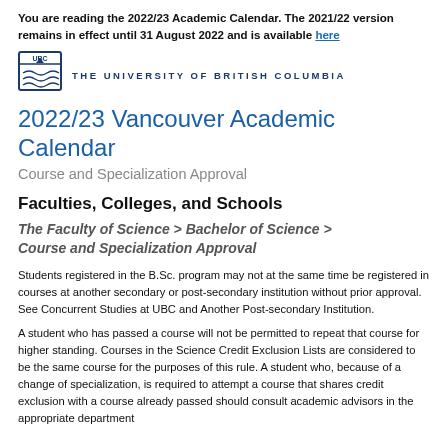You are reading the 2022/23 Academic Calendar. The 2021/22 version remains in effect until 31 August 2022 and is available here
[Figure (logo): UBC shield logo with text THE UNIVERSITY OF BRITISH COLUMBIA]
2022/23 Vancouver Academic Calendar
Course and Specialization Approval
Faculties, Colleges, and Schools
The Faculty of Science > Bachelor of Science > Course and Specialization Approval
Students registered in the B.Sc. program may not at the same time be registered in courses at another secondary or post-secondary institution without prior approval. See Concurrent Studies at UBC and Another Post-secondary Institution.
A student who has passed a course will not be permitted to repeat that course for higher standing. Courses in the Science Credit Exclusion Lists are considered to be the same course for the purposes of this rule. A student who, because of a change of specialization, is required to attempt a course that shares credit exclusion with a course already passed should consult academic advisors in the appropriate department